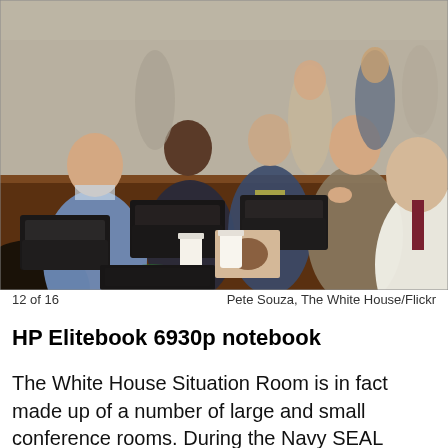[Figure (photo): The White House Situation Room photo showing President Obama, Vice President Biden, Secretary of State Hillary Clinton, Secretary of Defense Robert Gates, and other senior officials watching the Navy SEAL operation to kill Osama bin Laden. Multiple laptops are open on a conference table.]
12 of 16    Pete Souza, The White House/Flickr
HP Elitebook 6930p notebook
The White House Situation Room is in fact made up of a number of large and small conference rooms. During the Navy SEAL operation to kill Osama bin Laden, the President along with other prominent members of the Cabinet and armed